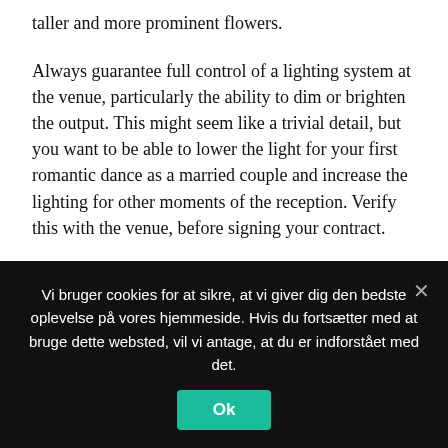taller and more prominent flowers.
Always guarantee full control of a lighting system at the venue, particularly the ability to dim or brighten the output. This might seem like a trivial detail, but you want to be able to lower the light for your first romantic dance as a married couple and increase the lighting for other moments of the reception. Verify this with the venue, before signing your contract.
It would be a good idea for you to practice your dance moves in a longer skirt prior to your wedding. While you may be used to it, your husband probably
Vi bruger cookies for at sikre, at vi giver dig den bedste oplevelse på vores hjemmeside. Hvis du fortsætter med at bruge dette websted, vil vi antage, at du er indforstået med det.
Ok